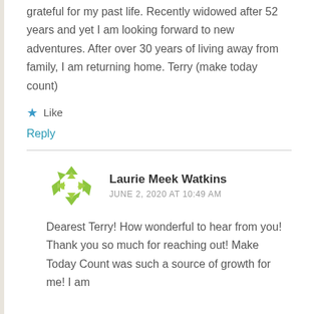grateful for my past life. Recently widowed after 52 years and yet I am looking forward to new adventures. After over 30 years of living away from family, I am returning home. Terry (make today count)
★ Like
Reply
Laurie Meek Watkins
JUNE 2, 2020 AT 10:49 AM
Dearest Terry! How wonderful to hear from you! Thank you so much for reaching out! Make Today Count was such a source of growth for me! I am